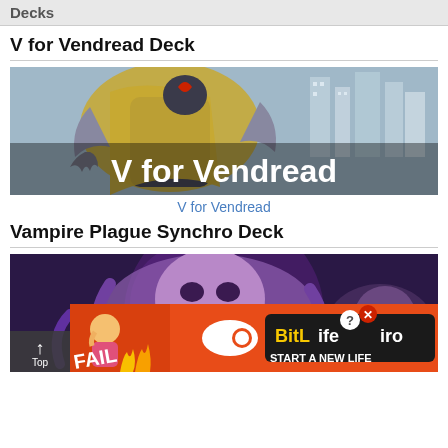Decks
V for Vendread Deck
[Figure (illustration): Banner image showing 'V for Vendread' Yu-Gi-Oh card game deck artwork — a large armored monster with gold cape and red eyes standing in a city, with text 'V for Vendread' overlaid in white]
V for Vendread
Vampire Plague Synchro Deck
[Figure (illustration): Banner image showing 'Vampire Plague Synchro Deck' Yu-Gi-Oh card game artwork — large purple zombie/vampire monster on dark purple background, with a BitLife advertisement overlay at the bottom reading 'FAIL START A NEW LIFE BitLife']